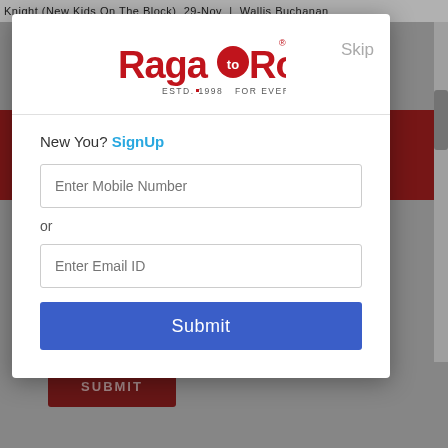Knight (New Kids On The Block) 29-Nov | Wallis Buchanan
[Figure (logo): RagaRock logo - red text with 'to' in white on a red circle, 'ESTD. 1998 FOR EVERYTHING IN MUSIC' tagline below]
Skip
New You? SignUp
Enter Mobile Number
or
Enter Email ID
Submit
SUBMIT